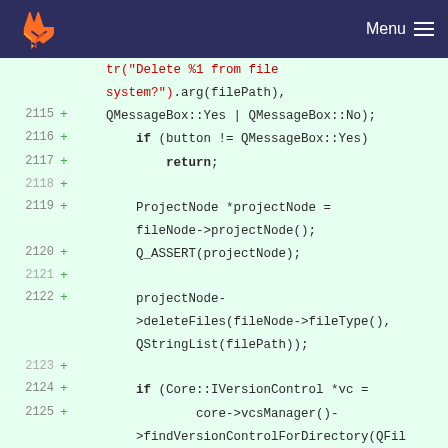GitLab — Menu
[Figure (screenshot): GitLab source code diff view showing lines 2115-2126 with added lines (marked with +) in green background containing C++ code for file deletion dialog logic]
tr("Delete %1 from file system?").arg(filePath),
2115  +   QMessageBox::Yes | QMessageBox::No);
2116  +       if (button != QMessageBox::Yes)
2117  +           return;
2118  +
2119  +       ProjectNode *projectNode = fileNode->projectNode();
2120  +       Q_ASSERT(projectNode);
2121  +
2122  +       projectNode->deleteFiles(fileNode->fileType(), QStringList(filePath));
2123  +
2124  +       if (Core::IVersionControl *vc =
2125  +               core->vcsManager()->findVersionControlForDirectory(QFileInfo(filePath).absolutePath())) {
2126  +           vc->vcsDelete(filePath);